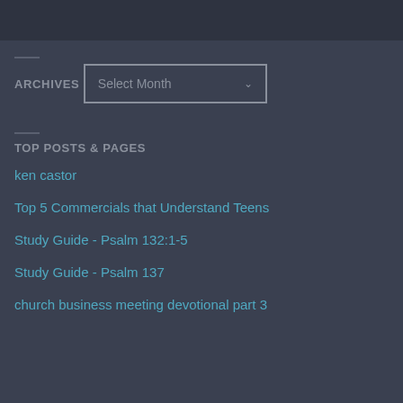ARCHIVES
TOP POSTS & PAGES
ken castor
Top 5 Commercials that Understand Teens
Study Guide - Psalm 132:1-5
Study Guide - Psalm 137
church business meeting devotional part 3